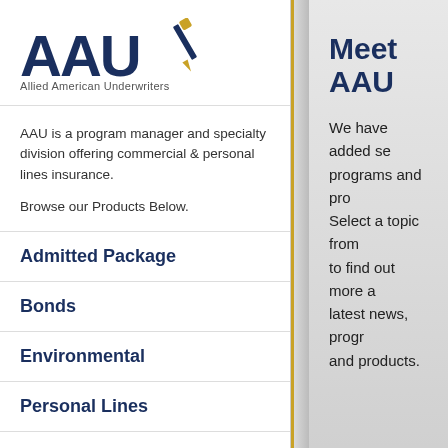[Figure (logo): AAU Allied American Underwriters logo with stylized pen/quill]
AAU is a program manager and specialty division offering commercial & personal lines insurance.

Browse our Products Below.
Admitted Package
Bonds
Environmental
Personal Lines
Programs
Meet AAU
We have added se... programs and pro... Select a topic from... to find out more a... latest news, progr... and products.